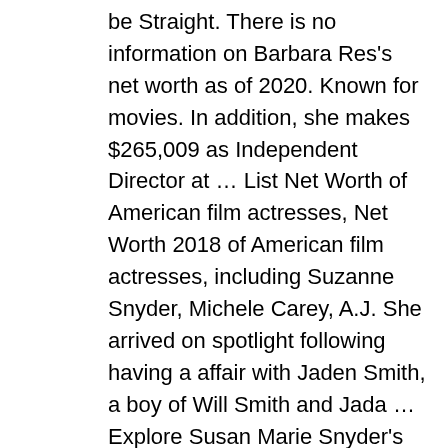be Straight. There is no information on Barbara Res's net worth as of 2020. Known for movies. In addition, she makes $265,009 as Independent Director at … List Net Worth of American film actresses, Net Worth 2018 of American film actresses, including Suzanne Snyder, Michele Carey, A.J. She arrived on spotlight following having a affair with Jaden Smith, a boy of Will Smith and Jada … Explore Susan Marie Snyder's biography, personal life, family and real age. Ms. Snyder owns over 292 units of Progressive stock worth over $1,143,411 and over the last 10 years she sold PGR stock worth over $0. Tom Ford May 13, 2019. We take a look at Susan Marie Snyder's net worth, estimated salary for 2019-2020 and Soap Opera Actresss recent earnings here. Designers Brent Corrigan Net Worth Brent Corrigan Net Worth 2020: Wiki Biography, Married, Family,